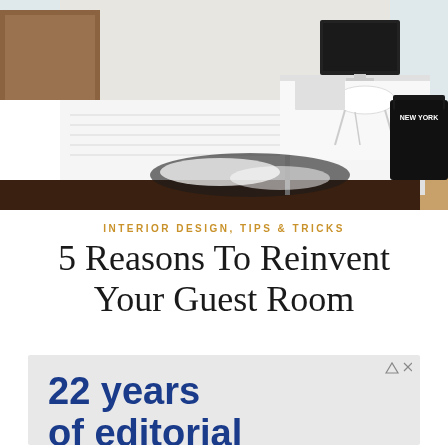[Figure (photo): Interior bedroom photo showing a bed with white and grey patterned bedding, a white desk with an iMac computer and white Eames-style chair, a black leather chair with a 'NEW YORK' pillow, and a black and white cowhide rug on wood floors.]
INTERIOR DESIGN, TIPS & TRICKS
5 Reasons To Reinvent Your Guest Room
[Figure (infographic): Advertisement banner with light grey background showing '22 years of editorial' in large bold dark blue text, with an ad indicator icon (triangle and X) in the top right corner.]